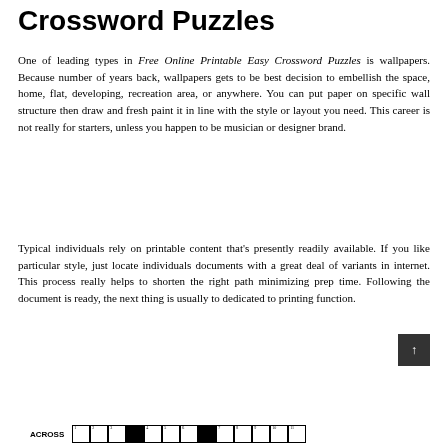Crossword Puzzles
One of leading types in Free Online Printable Easy Crossword Puzzles is wallpapers. Because number of years back, wallpapers gets to be best decision to embellish the space, home, flat, developing, recreation area, or anywhere. You can put paper on specific wall structure then draw and fresh paint it in line with the style or layout you need. This career is not really for starters, unless you happen to be musician or designer brand.
Typical individuals rely on printable content that's presently readily available. If you like particular style, just locate individuals documents with a great deal of variants in internet. This process really helps to shorten the right path minimizing prep time. Following the document is ready, the next thing is usually to dedicated to printing function.
[Figure (other): Bottom strip showing ACROSS label and partial crossword puzzle grid with numbered cells, some black cells.]